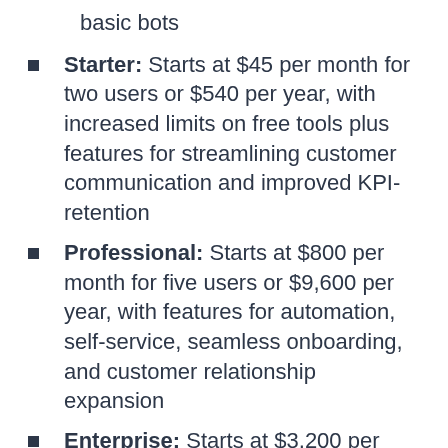basic bots
Starter: Starts at $45 per month for two users or $540 per year, with increased limits on free tools plus features for streamlining customer communication and improved KPI-retention
Professional: Starts at $800 per month for five users or $9,600 per year, with features for automation, self-service, seamless onboarding, and customer relationship expansion
Enterprise: Starts at $3,200 per month for ten users or $38,400 per year, with features for scaling, customization, and optimization